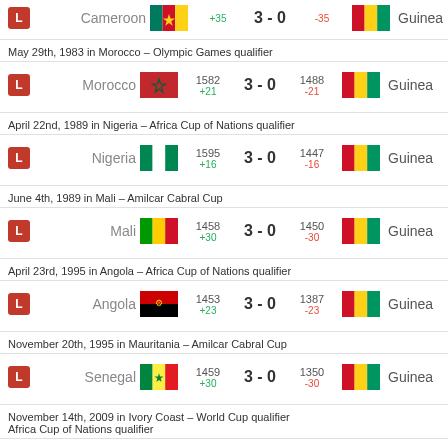May 29th, 1983 in Morocco – Olympic Games qualifier
| Result | Home | Flag | ELO Home | Score | ELO Away | Flag | Away |
| --- | --- | --- | --- | --- | --- | --- | --- |
| L | Morocco |  | 1582 +21 | 3 - 0 | 1488 -21 |  | Guinea |
April 22nd, 1989 in Nigeria – Africa Cup of Nations qualifier
| Result | Home | Flag | ELO Home | Score | ELO Away | Flag | Away |
| --- | --- | --- | --- | --- | --- | --- | --- |
| L | Nigeria |  | 1595 +16 | 3 - 0 | 1447 -16 |  | Guinea |
June 4th, 1989 in Mali – Amilcar Cabral Cup
| Result | Home | Flag | ELO Home | Score | ELO Away | Flag | Away |
| --- | --- | --- | --- | --- | --- | --- | --- |
| L | Mali |  | 1458 +30 | 3 - 0 | 1450 -30 |  | Guinea |
April 23rd, 1995 in Angola – Africa Cup of Nations qualifier
| Result | Home | Flag | ELO Home | Score | ELO Away | Flag | Away |
| --- | --- | --- | --- | --- | --- | --- | --- |
| L | Angola |  | 1453 +23 | 3 - 0 | 1387 -23 |  | Guinea |
November 20th, 1995 in Mauritania – Amilcar Cabral Cup
| Result | Home | Flag | ELO Home | Score | ELO Away | Flag | Away |
| --- | --- | --- | --- | --- | --- | --- | --- |
| L | Senegal |  | 1459 +30 | 3 - 0 | 1350 -30 |  | Guinea |
November 14th, 2009 in Ivory Coast – World Cup qualifier
Africa Cup of Nations qualifier
| Result | Home | Flag | ELO Home | Score | ELO Away | Flag | Away |
| --- | --- | --- | --- | --- | --- | --- | --- |
| L | Ivory Coast |  | 1754 +8 | 3 - 0 | 1477 -8 |  | Guinea |
February 1st, 2015 in Equatorial Guinea – Africa Cup of Nations Quarter-final
| Result | Home | Flag | ELO Home | Score | ELO Away | Flag | Away |
| --- | --- | --- | --- | --- | --- | --- | --- |
| L | Ghana |  | 1735 | 3 - 0 | 1557 |  | Guinea |